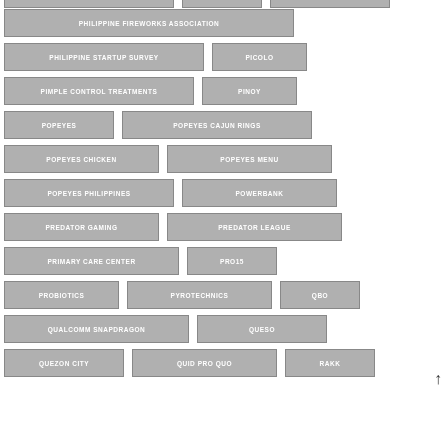PHILIPPINE FIREWORKS ASSOCIATION
PHILIPPINE STARTUP SURVEY
PICOLO
PIMPLE CONTROL TREATMENTS
PINOY
POPEYES
POPEYES CAJUN RINGS
POPEYES CHICKEN
POPEYES MENU
POPEYES PHILIPPINES
POWERBANK
PREDATOR GAMING
PREDATOR LEAGUE
PRIMARY CARE CENTER
PRO15
PROBIOTICS
PYROTECHNICS
QBO
QUALCOMM SNAPDRAGON
QUESO
QUEZON CITY
QUID PRO QUO
RAKK